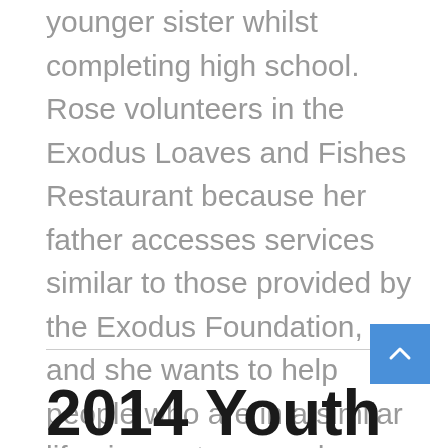younger sister whilst completing high school. Rose volunteers in the Exodus Loaves and Fishes Restaurant because her father accesses services similar to those provided by the Exodus Foundation, and she wants to help people who are in a similar life circumstance as her father. Rose also volunteers with the Australian Kookaburra Kids Foundation, an organisation that helps support children with parents who have drug and alcohol dependency. After supporting her father, Rose has become the first ever youth ambassador for the Kookaburra Kids Foundation, and volunteers to help other children in her situation.
2014 Youth